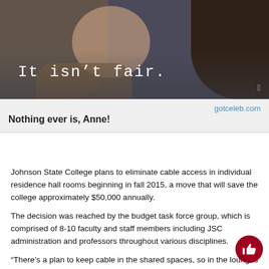[Figure (photo): A photo of a woman (Anne) with dark curly hair, wearing a tan jacket, against a dark background. White text overlay reads 'It isn't fair.' in monospace font.]
gotceleb.com
Nothing ever is, Anne!
Johnson State College plans to eliminate cable access in individual residence hall rooms beginning in fall 2015, a move that will save the college approximately $50,000 annually.
The decision was reached by the budget task force group, which is comprised of 8-10 faculty and staff members including JSC administration and professors throughout various disciplines.
“There’s a plan to keep cable in the shared spaces, so in the lounges and shared spaces of Arthur Hall as well as in a couple other key places where it already is, like in SHAPE and Stearns,” Dean of Students Dave Bergh said. “The last estimate I saw was just by eliminating it in individual rooms, again not in lounges, that we would save $50,000 a year, so